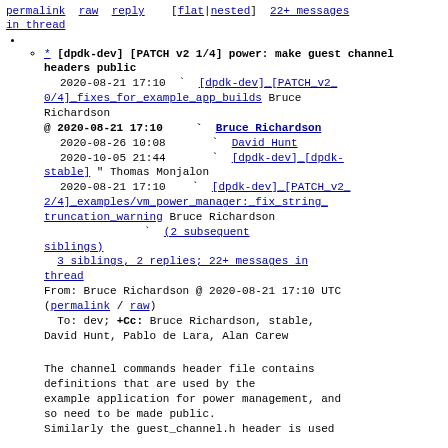permalink  raw  reply    [flat|nested]  22+ messages in thread
* [dpdk-dev] [PATCH v2 1/4] power: make guest channel headers public
2020-08-21 17:10 ` [dpdk-dev] [PATCH v2 0/4] fixes for example app builds Bruce Richardson
@ 2020-08-21 17:10   ` Bruce Richardson
  2020-08-26 10:08     ` David Hunt
  2020-10-05 21:44     ` [dpdk-dev] [dpdk-stable] " Thomas Monjalon
  2020-08-21 17:10   ` [dpdk-dev] [PATCH v2 2/4] examples/vm power manager: fix string truncation warning Bruce Richardson
                     ` (2 subsequent siblings)
  3 siblings, 2 replies; 22+ messages in thread
From: Bruce Richardson @ 2020-08-21 17:10 UTC (permalink / raw)
  To: dev; +Cc: Bruce Richardson, stable, David Hunt, Pablo de Lara, Alan Carew

The channel commands header file contains definitions that are used by the example application for power management, and so need to be made public.
Similarly the guest_channel.h header is used
From: Bruce Richardson @ 2020-08-21 17:10 UTC (permalink / raw)
  To: dev; +Cc: Bruce Richardson, stable, David Hunt, Pablo de Lara, Alan Carew
The channel commands header file contains definitions that are used by the example application for power management, and so need to be made public.
Similarly the guest_channel.h header is used